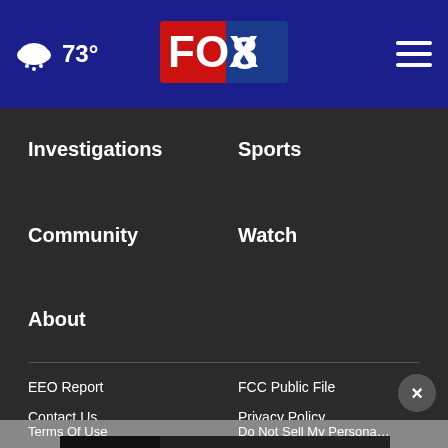73° FOX 8
Investigations
Sports
Community
Watch
About
EEO Report
FCC Public File
Contact Us
Privacy Policy
Terms Of Use
Do Not Sell My Persona…
[Figure (photo): Advertisement banner showing two people, text reads 'Never stop being a dad.']